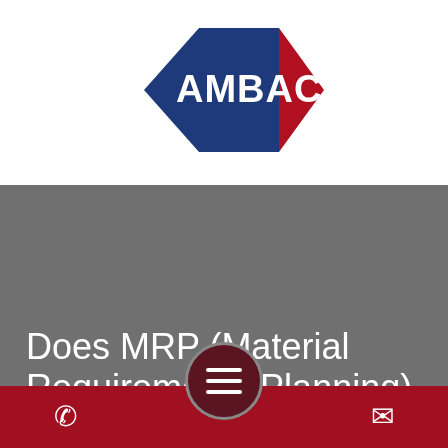[Figure (logo): AMBAC company logo — a blue diamond shape on the left and a red arrow/diamond shape on the right, with white text 'AMBAC' in bold across the center]
Does MRP (Material Requirements Planning)
[Figure (other): Mobile navigation menu hamburger button — dark red circular button with three white horizontal lines]
Phone icon | Menu button | Envelope icon